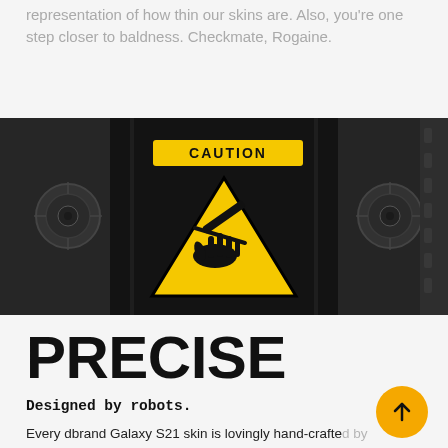representation of how thin our skins are. Also, you're one step closer to baldness. Checkmate, Rogaine.
[Figure (photo): Close-up photo of an industrial cutting machine with a yellow CAUTION warning sticker showing a hand-cutting hazard symbol, set against a dark background with visible bolts and machine parts.]
PRECISE
Designed by robots.
Every dbrand Galaxy S21 skin is lovingly hand-crafted by one of the industrial-grade cutting machines that you see here. It costs more than your student loan and cuts within